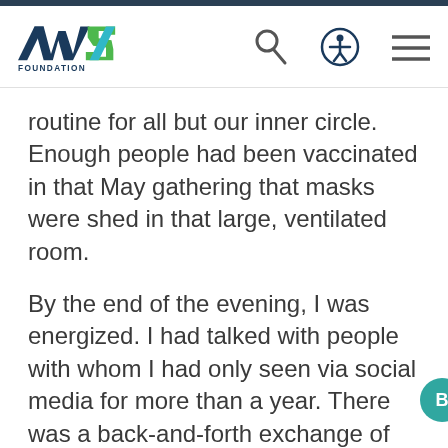AWS Foundation
routine for all but our inner circle. Enough people had been vaccinated in that May gathering that masks were shed in that large, ventilated room.
By the end of the evening, I was energized. I had talked with people with whom I had only seen via social media for more than a year. There was a back-and-forth exchange of stories and updates that filled my heart. I did not fully realize what had